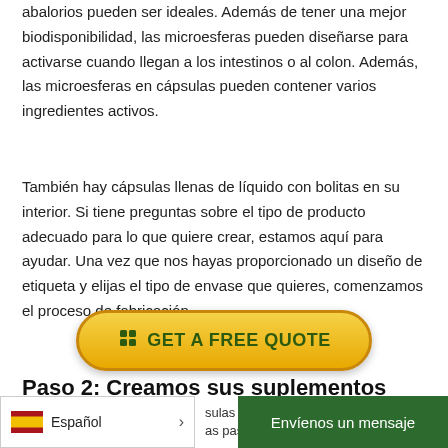abalorios pueden ser ideales. Además de tener una mejor biodisponibilidad, las microesferas pueden diseñarse para activarse cuando llegan a los intestinos o al colon. Además, las microesferas en cápsulas pueden contener varios ingredientes activos.
También hay cápsulas llenas de líquido con bolitas en su interior. Si tiene preguntas sobre el tipo de producto adecuado para lo que quiere crear, estamos aquí para ayudar. Una vez que nos hayas proporcionado un diseño de etiqueta y elijas el tipo de envase que quieres, comenzamos el proceso de fabricación.
[Figure (other): Yellow rounded button with green text reading 'GET A FREE QUOTE' with a small icon on the left]
Paso 2: Creamos sus suplementos
Español  >  sulas llenas de  as pasos que s
Envíenos un mensaje